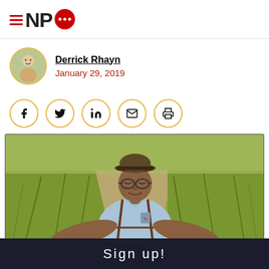NPQ logo with hamburger menu icon and speech bubble
Derrick Rhayn
January 29, 2019
[Figure (infographic): Social share buttons row: Facebook, Twitter, LinkedIn, Email, Print — each in a circular gold-bordered button]
[Figure (photo): An elderly Black man wearing a cap, glasses, and a light blue shirt with suspenders, standing in a green field or meadow path, smiling gently with eyes slightly closed]
Sign up!